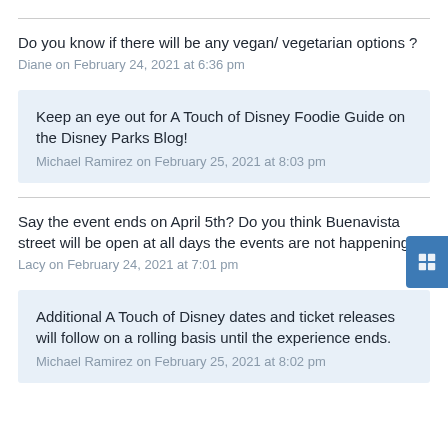Do you know if there will be any vegan/ vegetarian options ?
Diane on February 24, 2021 at 6:36 pm
Keep an eye out for A Touch of Disney Foodie Guide on the Disney Parks Blog!
Michael Ramirez on February 25, 2021 at 8:03 pm
Say the event ends on April 5th? Do you think Buenavista street will be open at all days the events are not happening?
Lacy on February 24, 2021 at 7:01 pm
Additional A Touch of Disney dates and ticket releases will follow on a rolling basis until the experience ends.
Michael Ramirez on February 25, 2021 at 8:02 pm